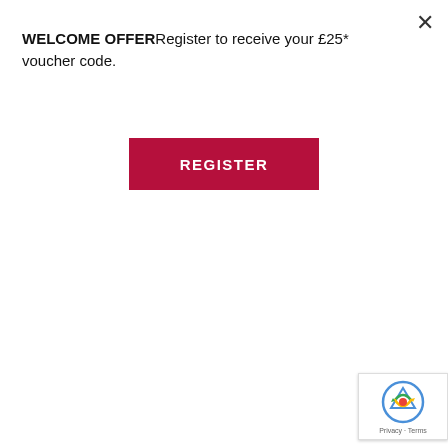WELCOME OFFERRegister to receive your £25* voucher code.
[Figure (other): Red REGISTER button]
[Figure (photo): Black rectangle representing a video/image area for TEMPUR mattress]
Featuring a top layer of TEMPUR® Extra Soft™ Material, the TEMPUR® Cloud Mattress Collection instantly cushions you for an enveloping feeling, but still with all the supportive benefits and easy to maintain as there is no need to flip or turn over and comes with removable washable covers.
Once you settle into your most comfortable
[Figure (other): Google reCAPTCHA badge with Privacy and Terms links]